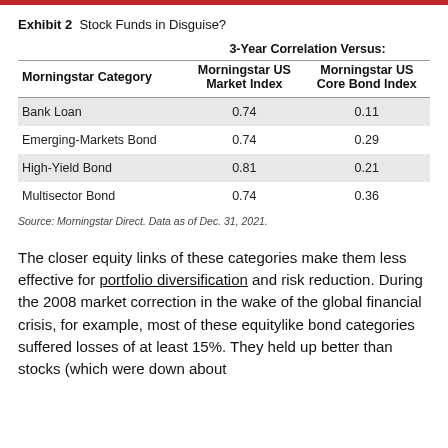Exhibit 2 Stock Funds in Disguise?
| Morningstar Category | Morningstar US Market Index | Morningstar US Core Bond Index |
| --- | --- | --- |
| Bank Loan | 0.74 | 0.11 |
| Emerging-Markets Bond | 0.74 | 0.29 |
| High-Yield Bond | 0.81 | 0.21 |
| Multisector Bond | 0.74 | 0.36 |
Source: Morningstar Direct. Data as of Dec. 31, 2021.
The closer equity links of these categories make them less effective for portfolio diversification and risk reduction. During the 2008 market correction in the wake of the global financial crisis, for example, most of these equitylike bond categories suffered losses of at least 15%. They held up better than stocks (which were down about